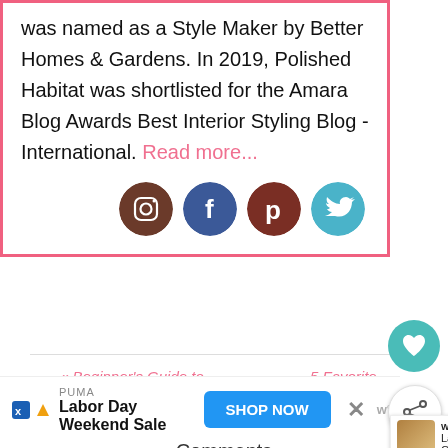was named as a Style Maker by Better Homes & Gardens. In 2019, Polished Habitat was shortlisted for the Amara Blog Awards Best Interior Styling Blog - International. Read more...
[Figure (illustration): Four social media circular icons: Instagram (brown), Facebook (dark blue), Pinterest (dark red/brown), Twitter (teal/blue)]
[Figure (illustration): Teal heart button widget on right side]
1.1K
[Figure (illustration): Share button widget]
« Beginner's Guide to Furniture Refinishing
5 Favorite Things {Happy Monday!} »
[Figure (illustration): WHAT'S NEXT → Last Minute Christmas G... thumbnail widget]
Comments
[Figure (illustration): PUMA Labor Day Weekend Sale advertisement with SHOP NOW button]